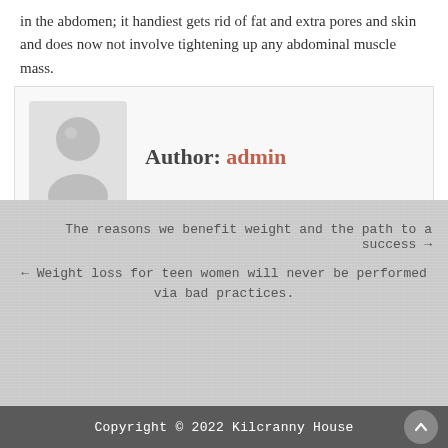in the abdomen; it handiest gets rid of fat and extra pores and skin and does now not involve tightening up any abdominal muscle mass.
Author: admin
[Figure (illustration): Default user avatar — grey circle with white silhouette of a person]
The reasons we benefit weight and the path to a success →
← Weight loss for teen women will never be performed via bad practices.
Copyright © 2022 Kilcranny House